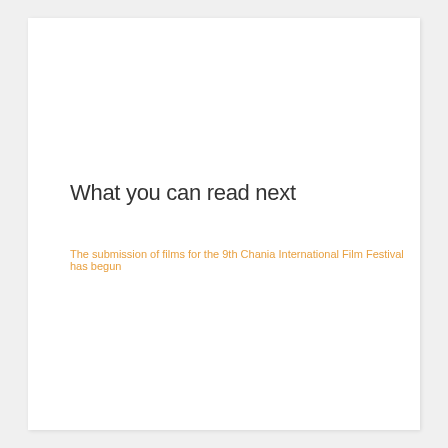What you can read next
The submission of films for the 9th Chania International Film Festival has begun